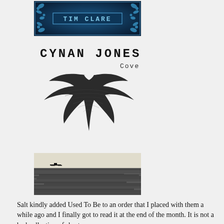[Figure (illustration): Book cover for Tim Clare with blue floral decorative border and author name in teal text box]
[Figure (illustration): Book cover for Cynan Jones 'Cove' showing a swift/swallow silhouette in black with wood-grain texture on white background]
[Figure (photo): Black and white photograph of a small aircraft or boat on a dark grainy sea/landscape]
Salt kindly added Used To Be to an order that I placed with them a while ago and I finally got to read it at the end of the month. It is not a bad collection of short